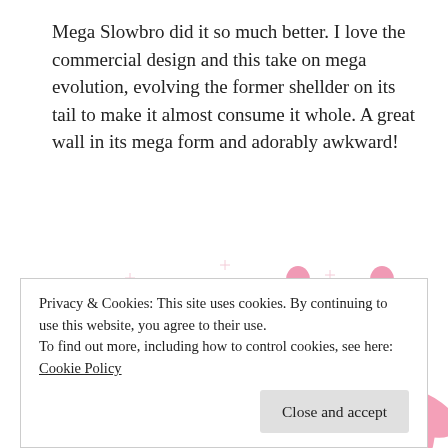Mega Slowbro did it so much better. I love the commercial design and this take on mega evolution, evolving the former shellder on its tail to make it almost consume it whole. A great wall in its mega form and adorably awkward!
[Figure (illustration): Illustration of a pink cartoon Slowbro Pokemon character (Mega Slowbro) with sparkles in the background. The character is pink and round with blue eyes, a yellow beak, a purple shell on its tail, and pink wing-like arms.]
Privacy & Cookies: This site uses cookies. By continuing to use this website, you agree to their use.
To find out more, including how to control cookies, see here: Cookie Policy